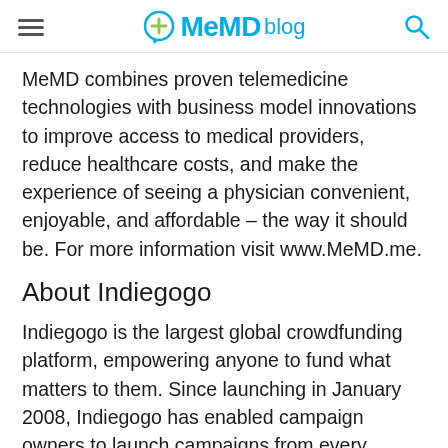MeMD blog
MeMD combines proven telemedicine technologies with business model innovations to improve access to medical providers, reduce healthcare costs, and make the experience of seeing a physician convenient, enjoyable, and affordable – the way it should be. For more information visit www.MeMD.me.
About Indiegogo
Indiegogo is the largest global crowdfunding platform, empowering anyone to fund what matters to them. Since launching in January 2008, Indiegogo has enabled campaign owners to launch campaigns from every country around